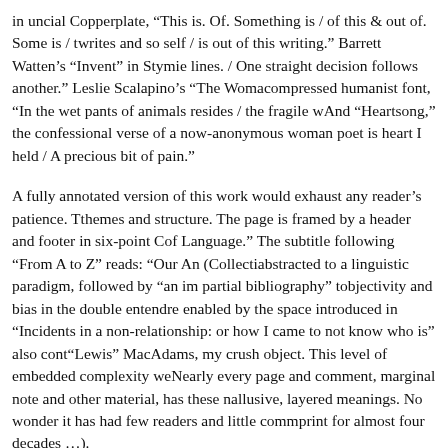in uncial Copperplate, “This is. Of. Something is / of this & out of. Some is / writes and so self / is out of this writing.” Barrett Watten’s “Invent” in Stymie lines. / One straight decision follows another.” Leslie Scalapino’s “The Woma compressed humanist font, “In the wet pants of animals resides / the fragile w And “Heartsong,” the confessional verse of a now-anonymous woman poet is heart I held / A precious bit of pain.”
A fully annotated version of this work would exhaust any reader’s patience. T themes and structure. The page is framed by a header and footer in six-point C of Language.” The subtitle following “From A to Z” reads: “Our An (Collecti abstracted to a linguistic paradigm, followed by “an im partial bibliography” t objectivity and bias in the double entendre enabled by the space introduced in “Incidents in a non-relationship: or how I came to not know who is” also cont “Lewis” MacAdams, my crush object. This level of embedded complexity we Nearly every page and comment, marginal note and other material, has these n allusive, layered meanings. No wonder it has had few readers and little comm print for almost four decades …).
In brief, then, here is a basic guide to the work. The dedication page (“For M